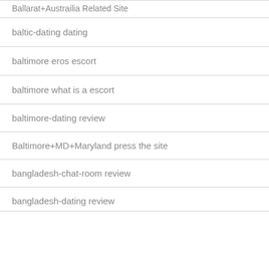Ballarat+Austrailia Related Site
baltic-dating dating
baltimore eros escort
baltimore what is a escort
baltimore-dating review
Baltimore+MD+Maryland press the site
bangladesh-chat-room review
bangladesh-dating review